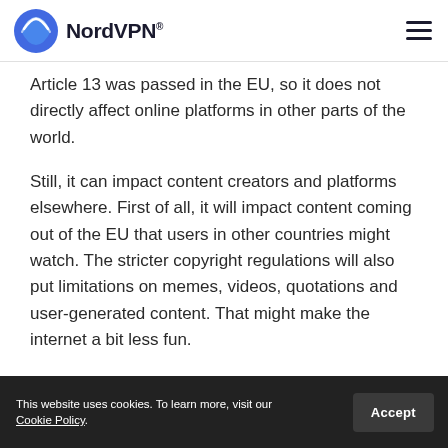NordVPN
Article 13 was passed in the EU, so it does not directly affect online platforms in other parts of the world.
Still, it can impact content creators and platforms elsewhere. First of all, it will impact content coming out of the EU that users in other countries might watch. The stricter copyright regulations will also put limitations on memes, videos, quotations and user-generated content. That might make the internet a bit less fun.
This website uses cookies. To learn more, visit our Cookie Policy.